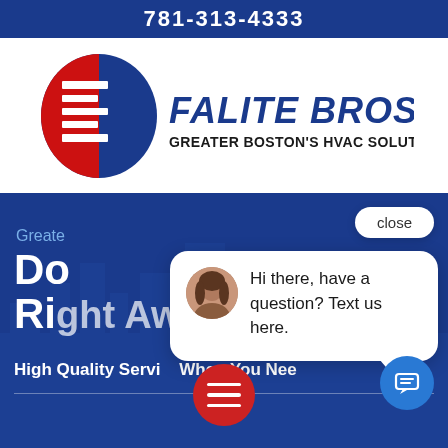781-313-4333
[Figure (logo): Falite Bros., Inc logo with red and blue oval containing stylized F/B letters, with company name and tagline]
FALITE BROS., INC
GREATER BOSTON'S HVAC SOLUTION
Great
Do Right Away
High Quality Servi  When You Nee
close
Hi there, have a question? Text us here.